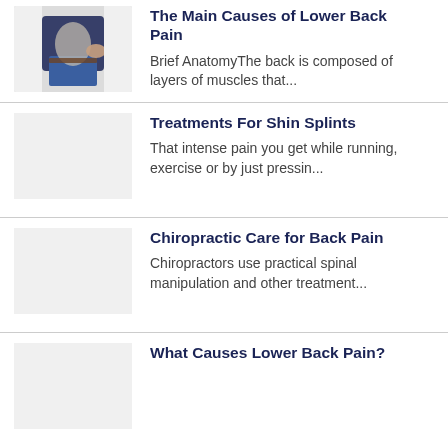[Figure (photo): Person holding their lower back in pain, wearing jeans and a dark jacket]
The Main Causes of Lower Back Pain
Brief AnatomyThe back is composed of layers of muscles that...
Treatments For Shin Splints
That intense pain you get while running, exercise or by just pressin...
Chiropractic Care for Back Pain
Chiropractors use practical spinal manipulation and other treatment...
What Causes Lower Back Pain?